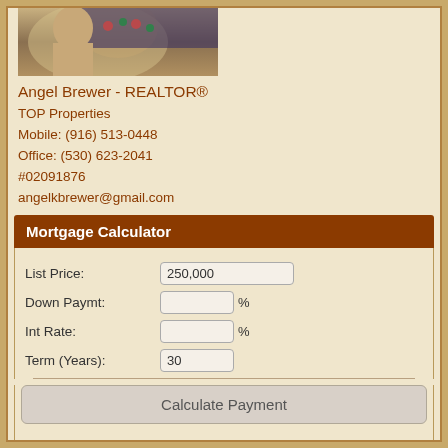[Figure (photo): Photo of Angel Brewer, a realtor, with jewelry visible]
Angel Brewer - REALTOR®
TOP Properties
Mobile: (916) 513-0448
Office: (530) 623-2041
#02091876
angelkbrewer@gmail.com
Mortgage Calculator
List Price: 250,000
Down Paymt: %
Int Rate: %
Term (Years): 30
Calculate Payment
Down Payment: $
Mo. Payment: $
Calculations are estimated and do not include taxes and insurance.